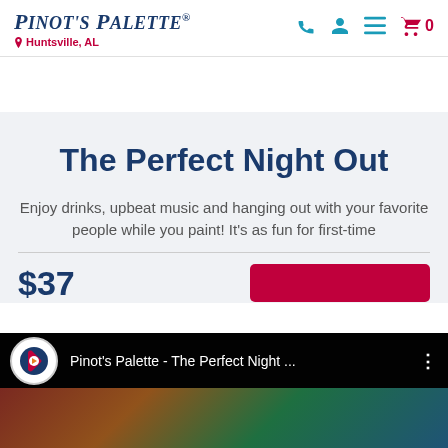Pinot's Palette – Huntsville, AL
The Perfect Night Out
Enjoy drinks, upbeat music and hanging out with your favorite people while you paint! It's as fun for first-time
$37
[Figure (screenshot): YouTube video thumbnail overlay showing Pinot's Palette - The Perfect Night Out video with channel icon and title bar on dark background, with people visible at the bottom]